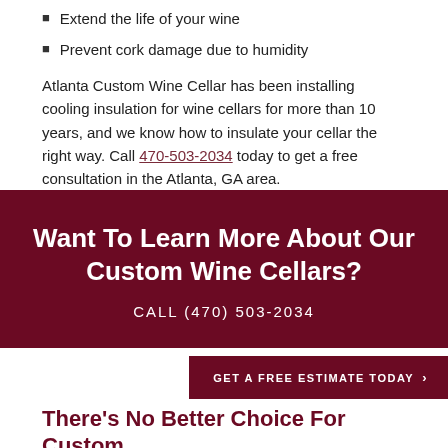Extend the life of your wine
Prevent cork damage due to humidity
Atlanta Custom Wine Cellar has been installing cooling insulation for wine cellars for more than 10 years, and we know how to insulate your cellar the right way. Call 470-503-2034 today to get a free consultation in the Atlanta, GA area.
Want To Learn More About Our Custom Wine Cellars?
CALL (470) 503-2034
GET A FREE ESTIMATE TODAY ›
There's No Better Choice For Custom